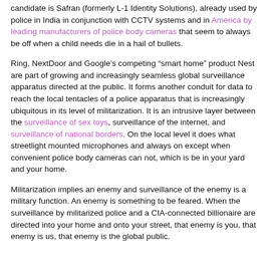candidate is Safran (formerly L-1 Identity Solutions), already used by police in India in conjunction with CCTV systems and in America by leading manufacturers of police body cameras that seem to always be off when a child needs die in a hail of bullets.
Ring, NextDoor and Google’s competing “smart home” product Nest are part of growing and increasingly seamless global surveillance apparatus directed at the public. It forms another conduit for data to reach the local tentacles of a police apparatus that is increasingly ubiquitous in its level of militarization. It is an intrusive layer between the surveillance of sex toys, surveillance of the internet, and surveillance of national borders. On the local level it does what streetlight mounted microphones and always on except when convenient police body cameras can not, which is be in your yard and your home.
Militarization implies an enemy and surveillance of the enemy is a military function. An enemy is something to be feared. When the surveillance by militarized police and a CIA-connected billionaire are directed into your home and onto your street, that enemy is you, that enemy is us, that enemy is the global public.